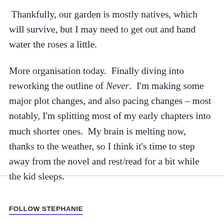Thankfully, our garden is mostly natives, which will survive, but I may need to get out and hand water the roses a little.
More organisation today.  Finally diving into reworking the outline of Never.  I'm making some major plot changes, and also pacing changes – most notably, I'm splitting most of my early chapters into much shorter ones.  My brain is melting now, thanks to the weather, so I think it's time to step away from the novel and rest/read for a bit while the kid sleeps.
FOLLOW STEPHANIE